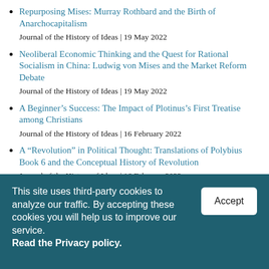Repurposing Mises: Murray Rothbard and the Birth of Anarchocapitalism
Journal of the History of Ideas | 19 May 2022
Neoliberal Economic Thinking and the Quest for Rational Socialism in China: Ludwig von Mises and the Market Reform Debate
Journal of the History of Ideas | 19 May 2022
A Beginner’s Success: The Impact of Plotinus’s First Treatise among Christians
Journal of the History of Ideas | 16 February 2022
A “Revolution” in Political Thought: Translations of Polybius Book 6 and the Conceptual History of Revolution
Journal of the History of Ideas | 16 February 2022
This site uses third-party cookies to analyze our traffic. By accepting these cookies you will help us to improve our service. Read the Privacy policy.